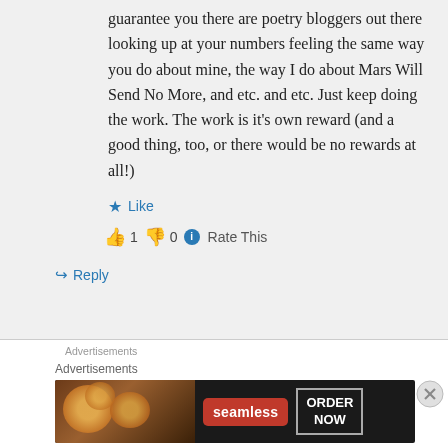guarantee you there are poetry bloggers out there looking up at your numbers feeling the same way you do about mine, the way I do about Mars Will Send No More, and etc. and etc. Just keep doing the work. The work is it's own reward (and a good thing, too, or there would be no rewards at all!)
★ Like
👍 1 👎 0 ℹ Rate This
↳ Reply
Advertisements
Advertisements
[Figure (photo): Seamless food delivery advertisement banner showing pizza slices on dark background with Seamless logo in red and ORDER NOW button]